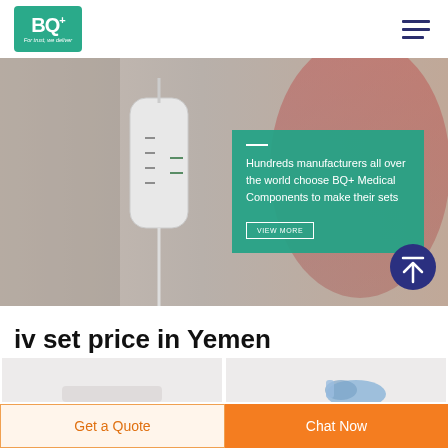[Figure (logo): BQ+ Medical logo in teal/green box with tagline 'For trust, we deliver']
[Figure (photo): Hero banner photo of IV drip set close-up, blurred medical background. Overlay teal card reads: 'Hundreds manufacturers all over the world choose BQ+ Medical Components to make their sets' with 'VIEW MORE' button.]
iv set price in Yemen
[Figure (photo): Product card 1 - light gray background, partial IV set product image at bottom]
[Figure (photo): Product card 2 - light gray background with blue/purple IV connector component visible]